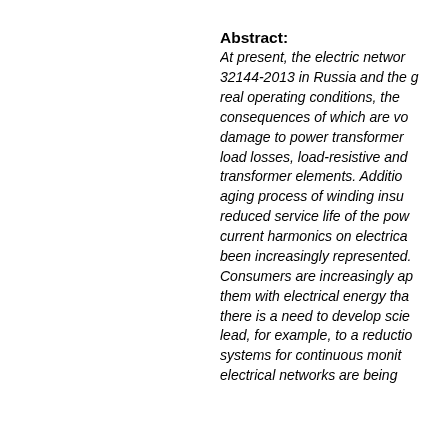Abstract:
At present, the electric networks 32144-2013 in Russia and the g real operating conditions, the consequences of which are vo damage to power transformer load losses, load-resistive and transformer elements. Additio aging process of winding insu reduced service life of the pow current harmonics on electrica been increasingly represented. Consumers are increasingly ap them with electrical energy tha there is a need to develop scie lead, for example, to a reductio systems for continuous monit electrical networks are being